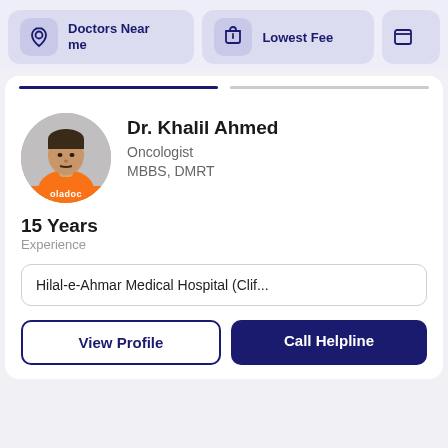Doctors Near me
Lowest Fee
Dr. Khalil Ahmed
Oncologist
MBBS, DMRT
15 Years
Experience
Hilal-e-Ahmar Medical Hospital (Clif...
View Profile
Call Helpline